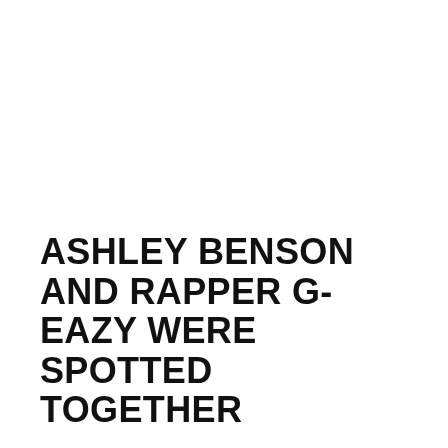ASHLEY BENSON AND RAPPER G-EAZY WERE SPOTTED TOGETHER